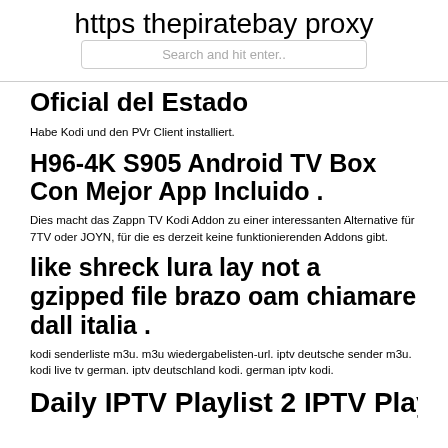https thepiratebay proxy
Search and hit enter..
Oficial del Estado
Habe Kodi und den PVr Client installiert.
H96-4K S905 Android TV Box Con Mejor App Incluido .
Dies macht das Zappn TV Kodi Addon zu einer interessanten Alternative für 7TV oder JOYN, für die es derzeit keine funktionierenden Addons gibt.
like shreck lura lay not a gzipped file brazo oam chiamare dall italia .
kodi senderliste m3u. m3u wiedergabelisten-url. iptv deutsche sender m3u. kodi live tv german. iptv deutschland kodi. german iptv kodi.
Daily IPTV Playlist 2 IPTV Playlist